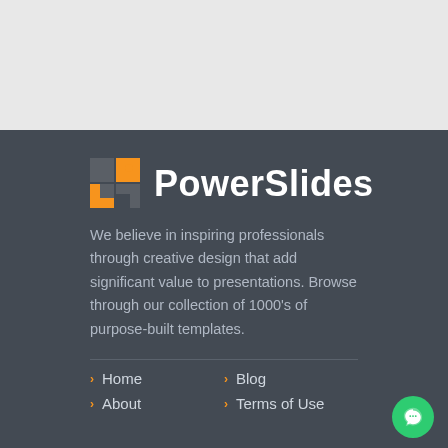[Figure (logo): PowerSlides logo with orange and grey interlocking squares icon and white bold text]
We believe in inspiring professionals through creative design that add significant value to presentations. Browse through our collection of 1000's of purpose-built templates.
Home
Blog
About
Terms of Use